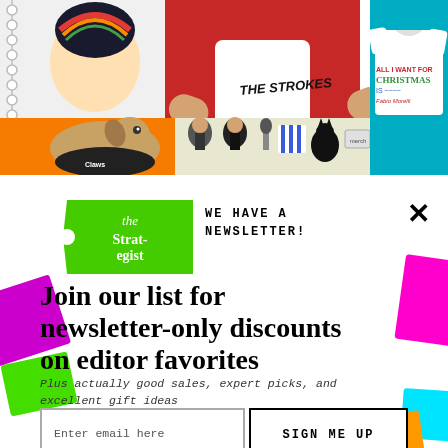[Figure (photo): Collage of merchandise products: notebook with cartoon sticker, person wearing The Strokes branded underwear, Christmas t-shirt on teal background, dog in orange box, band merchandise items]
[Figure (logo): The Strategist green price-tag logo with white text reading 'the Strategist']
WE HAVE A NEWSLETTER!
Join our list for newsletter-only discounts on editor favorites
Plus actually good sales, expert picks, and excellent gift ideas
Enter email here
SIGN ME UP
NO THANKS